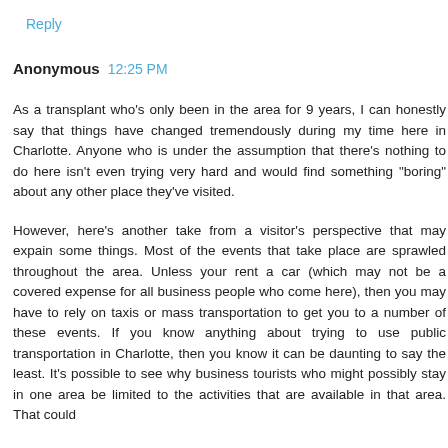Reply
Anonymous  12:25 PM
As a transplant who's only been in the area for 9 years, I can honestly say that things have changed tremendously during my time here in Charlotte. Anyone who is under the assumption that there's nothing to do here isn't even trying very hard and would find something "boring" about any other place they've visited.
However, here's another take from a visitor's perspective that may expain some things. Most of the events that take place are sprawled throughout the area. Unless your rent a car (which may not be a covered expense for all business people who come here), then you may have to rely on taxis or mass transportation to get you to a number of these events. If you know anything about trying to use public transportation in Charlotte, then you know it can be daunting to say the least. It's possible to see why business tourists who might possibly stay in one area be limited to the activities that are available in that area. That could